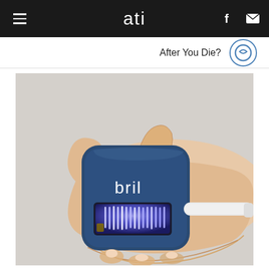ati
After You Die?
[Figure (photo): A hand holding a blue square-shaped Bril UV toothbrush sanitizer device. The device has the word 'bril' on it in white letters and a window showing blue UV light illuminating toothbrush bristles. A white electric toothbrush handle extends from the right side of the device.]